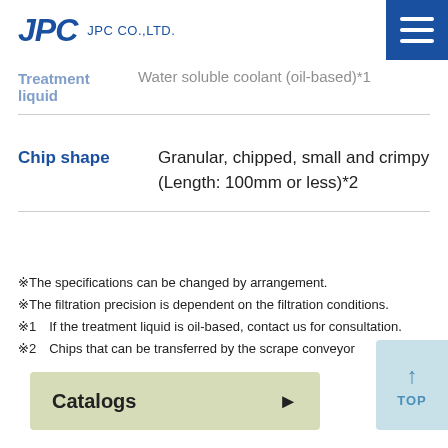JPC CO.,LTD.
Treatment liquid   Water soluble coolant (oil-based)*1
| Property | Value |
| --- | --- |
| Chip shape | Granular, chipped, small and crimpy (Length: 100mm or less)*2 |
※The specifications can be changed by arrangement.
※The filtration precision is dependent on the filtration conditions.
※1　If the treatment liquid is oil-based, contact us for consultation.
※2　Chips that can be transferred by the scrape conveyor
Catalogs ►